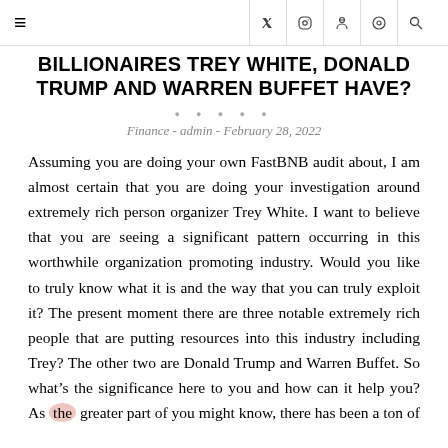≡  f  [twitter] [instagram] [pinterest] [search]
BILLIONAIRES TREY WHITE, DONALD TRUMP AND WARREN BUFFET HAVE?
Finance - admin - February 28, 2022
Assuming you are doing your own FastBNB audit about, I am almost certain that you are doing your investigation around extremely rich person organizer Trey White. I want to believe that you are seeing a significant pattern occurring in this worthwhile organization promoting industry. Would you like to truly know what it is and the way that you can truly exploit it? The present moment there are three notable extremely rich people that are putting resources into this industry including Trey? The other two are Donald Trump and Warren Buffet. So what's the significance here to you and how can it help you? As the greater part of you might know, there has been a ton of